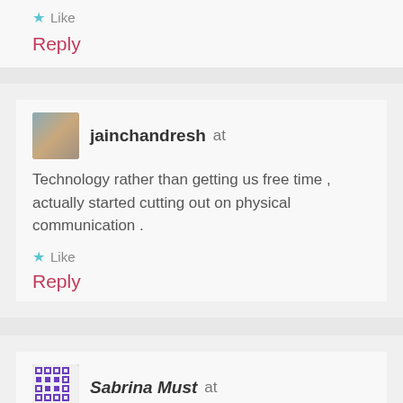Like
Reply
jainchandresh at
Technology rather than getting us free time , actually started cutting out on physical communication .
Like
Reply
Sabrina Must at
Yeah things are completely different, and I